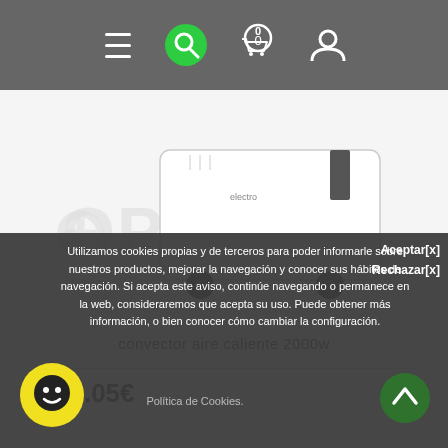Navigation bar with hamburger menu, search, cart (0), and user icon
[Figure (photo): A white panel convector heater with black wheels on a white background with OPTIMUS watermark]
convector aire caliente 2000w
28.05€
Utilizamos cookies propias y de terceros para poder informarle sobre nuestros productos, mejorar la navegación y conocer sus hábitos de navegación. Si acepta este aviso, continúe navegando o permanece en la web, consideraremos que acepta su uso. Puede obtener más información, o bien conocer cómo cambiar la configuración.
Política de Cookies.
Aceptar[x]
Rechazar[x]